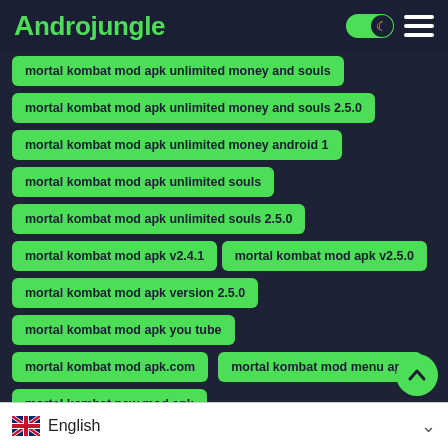Androjungle
mortal kombat mod apk unlimited money and souls
mortal kombat mod apk unlimited money and souls 2.5.0
mortal kombat mod apk unlimited money android 1
mortal kombat mod apk unlimited souls
mortal kombat mod apk unlimited souls 2.5.0
mortal kombat mod apk v2.4.1
mortal kombat mod apk v2.5.0
mortal kombat mod apk version 2.5.0
mortal kombat mod apk you tube
mortal kombat mod apk.com
mortal kombat mod menu apk
mortal kombat new mod apk
mortal kombat new update mod apk